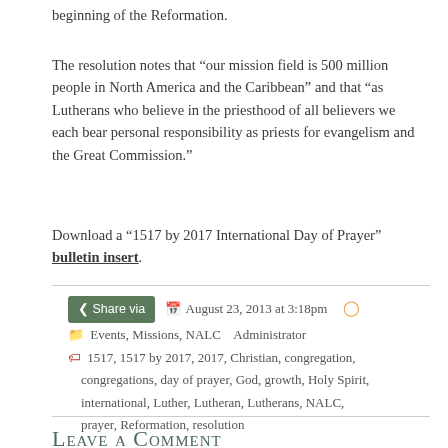beginning of the Reformation.
The resolution notes that “our mission field is 500 million people in North America and the Caribbean” and that “as Lutherans who believe in the priesthood of all believers we each bear personal responsibility as priests for evangelism and the Great Commission.”
Download a “1517 by 2017 International Day of Prayer” bulletin insert.
Share via   August 23, 2013 at 3:18pm   Events, Missions, NALC   Administrator   1517, 1517 by 2017, 2017, Christian, congregation, congregations, day of prayer, God, growth, Holy Spirit, international, Luther, Lutheran, Lutherans, NALC, prayer, Reformation, resolution
Leave a Comment